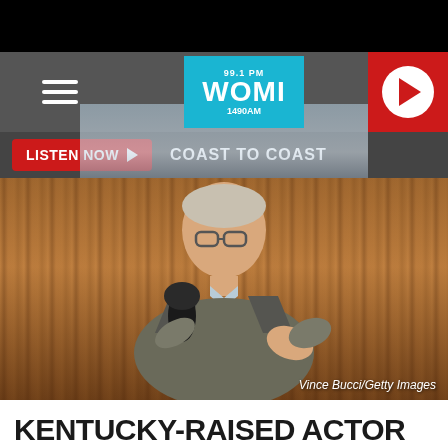[Figure (screenshot): WOMI radio station mobile website screenshot showing navigation bar with hamburger menu, WOMI 99.1 FM / 1490 AM logo, red play button, listen now bar, a photo of an older man speaking into a microphone, and a headline beginning KENTUCKY-RAISED ACTOR WITH]
WOMI 99.1 FM / 1490 AM
LISTEN NOW ▶  COAST TO COAST
Vince Bucci/Getty Images
KENTUCKY-RAISED ACTOR WITH